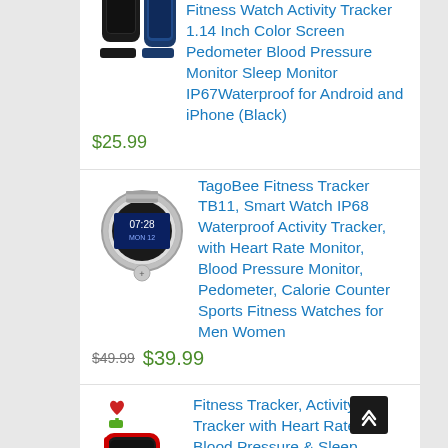[Figure (photo): Product listing screenshot showing fitness trackers and smartwatches on a white background]
Fitness Watch Activity Tracker 1.14 Inch Color Screen Pedometer Blood Pressure Monitor Sleep Monitor IP67Waterproof for Android and iPhone (Black)
$25.99
TagoBee Fitness Tracker TB11, Smart Watch IP68 Waterproof Activity Tracker, with Heart Rate Monitor, Blood Pressure Monitor, Pedometer, Calorie Counter Sports Fitness Watches for Men Women
$49.99 $39.99
Fitness Tracker, Activity Tracker with Heart Rate & Blood Pressure & Sleep Monitor,IP67 Waterproof